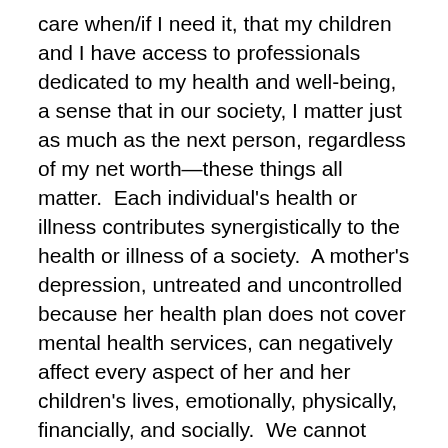care when/if I need it, that my children and I have access to professionals dedicated to my health and well-being, a sense that in our society, I matter just as much as the next person, regardless of my net worth—these things all matter.  Each individual's health or illness contributes synergistically to the health or illness of a society.  A mother's depression, untreated and uncontrolled because her health plan does not cover mental health services, can negatively affect every aspect of her and her children's lives, emotionally, physically, financially, and socially.  We cannot only look at healthcare on dollar spreadsheets of 'use.'
Maybe it's about priorities and philosophy—ideology?  Do we feel all people have an equal right to equal care, or do we differentiate what people deserve based on particular group memberships or other characteristics?  Do we feel